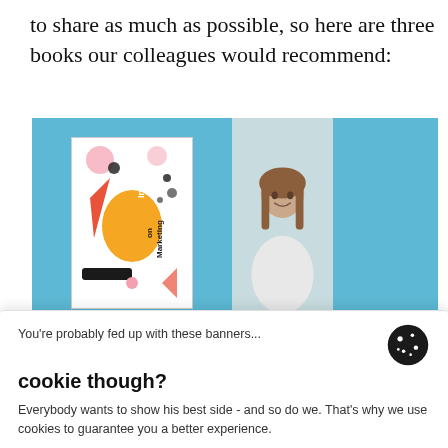to share as much as possible, so here are three books our colleagues would recommend:
[Figure (photo): A horizontal banner with a light blue background on the left showing a colorful book cover titled 'Intercom on Marketing', a center section with a photo of a smiling woman with long brown hair, and a right solid blue section.]
You're probably fed up with these banners...
cookie though?
Everybody wants to show his best side - and so do we. That's why we use cookies to guarantee you a better experience.
Customize ∨
Decline   Accept all